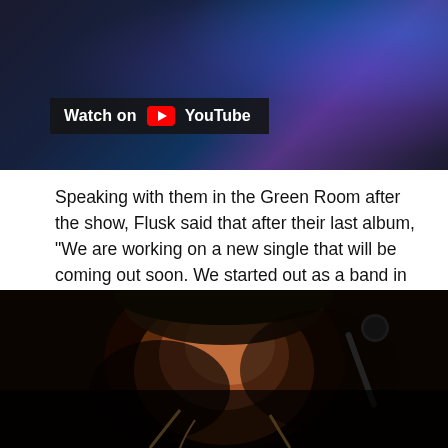[Figure (screenshot): YouTube video thumbnail showing a concert scene with blue/purple lighting and a microphone, with a 'Watch on YouTube' overlay bar]
Speaking with them in the Green Room after the show, Flusk said that after their last album, "We are working on a new single that will be coming out soon. We started out as a band in 2013, and plan to work with guest musicians sitting in (on live shows) in the future, hired guns if you will," she said.
[Figure (photo): Close-up photo of a male musician with long blonde hair and a baseball cap, eyes closed, singing at a microphone against a dark background]